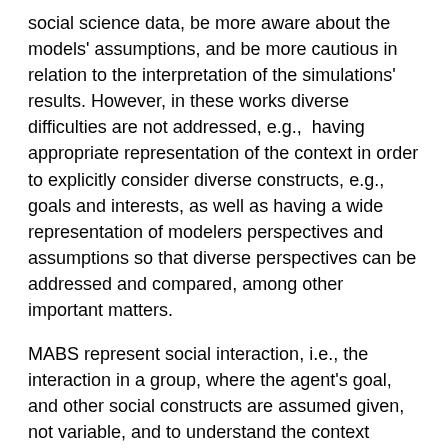social science data, be more aware about the models' assumptions, and be more cautious in relation to the interpretation of the simulations' results. However, in these works diverse difficulties are not addressed, e.g.,  having appropriate representation of the context in order to explicitly consider diverse constructs, e.g., goals and interests, as well as having a wide representation of modelers perspectives and assumptions so that diverse perspectives can be addressed and compared, among other important matters.
MABS represent social interaction, i.e., the interaction in a group, where the agent's goal, and other social constructs are assumed given, not variable, and to understand the context where they appear is not of interest or is out of reach (too difficult). However, as explained above, agents are in diverse social groups, not only in the simulated one, and so goals, interests, and beliefs in the modeled group are shaped in accordance to their interactions in diverse groups